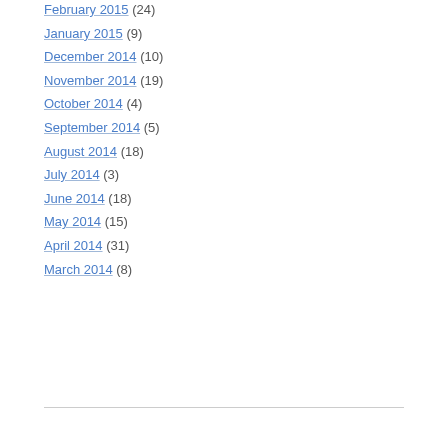February 2015 (24)
January 2015 (9)
December 2014 (10)
November 2014 (19)
October 2014 (4)
September 2014 (5)
August 2014 (18)
July 2014 (3)
June 2014 (18)
May 2014 (15)
April 2014 (31)
March 2014 (8)